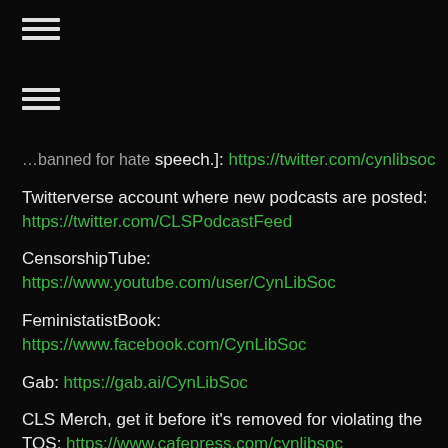[Figure (other): Hamburger menu icon (three horizontal bars) at top left]
[Figure (other): Second hamburger menu icon (three horizontal bars) below the first]
[truncated text] ...banned for hate speech.]: https://twitter.com/cynlibsoc
Twitterverse account where new podcasts are posted: https://twitter.com/CLSPodcastFeed
CensorshipTube: https://www.youtube.com/user/CynLibSoc
FeministatistBook: https://www.facebook.com/CynLibSoc
Gab: https://gab.ai/CynLibSoc
CLS Merch, get it before it's removed for violating the TOS: https://www.cafepress.com/cynlibsoc